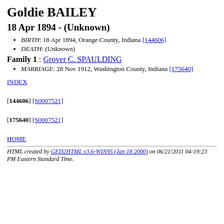Goldie BAILEY
18 Apr 1894 - (Unknown)
BIRTH: 18 Apr 1894, Orange County, Indiana [144606]
DEATH: (Unknown)
Family 1 : Grover C. SPAULDING
MARRIAGE: 28 Nov 1912, Washington County, Indiana [175640]
INDEX
[144606] [S0007521]
[175640] [S0007521]
HOME
HTML created by GED2HTML v3.6-WIN95 (Jan 18 2000) on 06/21/2011 04:19:23 PM Eastern Standard Time.